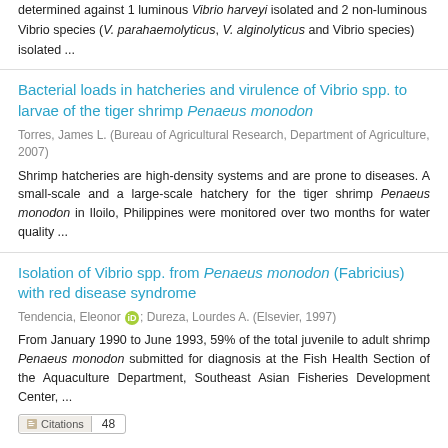determined against 1 luminous Vibrio harveyi isolated and 2 non-luminous Vibrio species (V. parahaemolyticus, V. alginolyticus and Vibrio species) isolated ...
Bacterial loads in hatcheries and virulence of Vibrio spp. to larvae of the tiger shrimp Penaeus monodon
Torres, James L. (Bureau of Agricultural Research, Department of Agriculture, 2007)
Shrimp hatcheries are high-density systems and are prone to diseases. A small-scale and a large-scale hatchery for the tiger shrimp Penaeus monodon in Iloilo, Philippines were monitored over two months for water quality ...
Isolation of Vibrio spp. from Penaeus monodon (Fabricius) with red disease syndrome
Tendencia, Eleonor; Dureza, Lourdes A. (Elsevier, 1997)
From January 1990 to June 1993, 59% of the total juvenile to adult shrimp Penaeus monodon submitted for diagnosis at the Fish Health Section of the Aquaculture Department, Southeast Asian Fisheries Development Center, ...
Citations 48